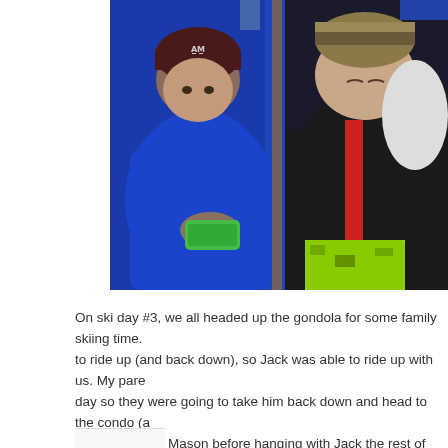[Figure (photo): Two young children sitting in a gondola ski lift. The child on the left wears a blue jacket and a dark maroon beanie with 'ATM' logo, holding a green handheld game device. The child on the right wears a dark jacket with red accents and a striped winter hat, sleeping with eyes closed. Both are bundled in winter clothing.]
On ski day #3, we all headed up the gondola for some family skiing time. to ride up (and back down), so Jack was able to ride up with us. My pare day so they were going to take him back down and head to the condo (a with Owen and Mason before hanging with Jack the rest of the afternoor